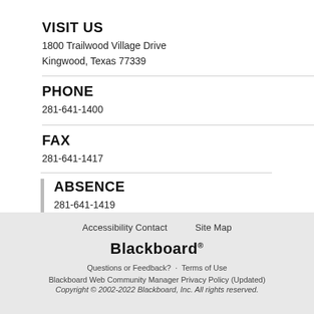VISIT US
1800 Trailwood Village Drive
Kingwood, Texas 77339
PHONE
281-641-1400
FAX
281-641-1417
ABSENCE
281-641-1419
Accessibility Contact   Site Map
Blackboard®
Questions or Feedback? · Terms of Use
Blackboard Web Community Manager Privacy Policy (Updated)
Copyright © 2002-2022 Blackboard, Inc. All rights reserved.